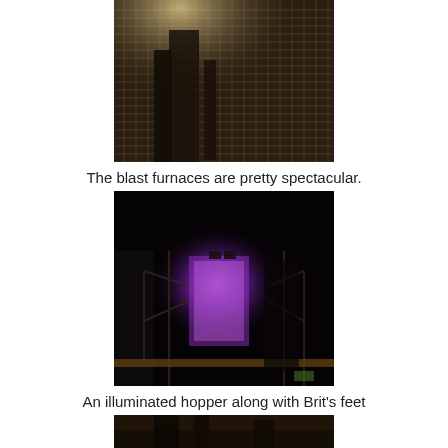[Figure (photo): A dark industrial photograph of blast furnaces at night, showing a tall grid-like metal structure illuminated from above with warm light.]
The blast furnaces are pretty spectacular.
[Figure (photo): A very dark nighttime photograph showing an illuminated hopper structure with purple/violet lighting, with scaffolding visible and feet (Brit's feet) visible at the top.]
An illuminated hopper along with Brit's feet
[Figure (photo): A partially visible dark industrial photograph at the bottom of the page.]